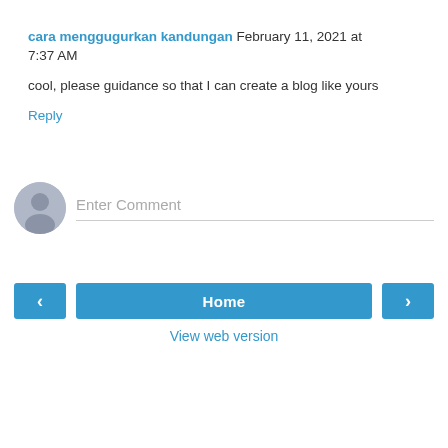cara menggugurkan kandungan February 11, 2021 at 7:37 AM
cool, please guidance so that I can create a blog like yours
Reply
[Figure (illustration): Gray avatar/user silhouette circle icon for comment input area]
Enter Comment
< Home >
View web version